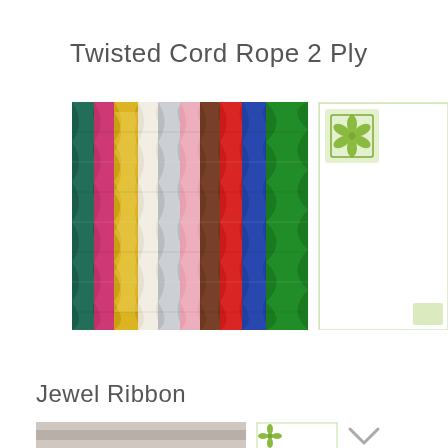Twisted Cord Rope 2 Ply
[Figure (photo): Close-up photo of multiple twisted cord ropes side by side in various colors: teal/gold, magenta/gold glitter, white/gold glitter, silver glitter/pink, pink/white, brown/red, red, blue, green]
[Figure (logo): Partially visible product card with a green decorative logo/badge in the top corner on a white background]
Jewel Ribbon
[Figure (photo): Partially visible jewel ribbon product image at bottom left]
[Figure (logo): Partially visible green decorative logo/badge]
[Figure (other): Chevron/arrow down icon in gray]